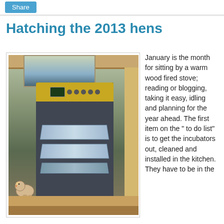Share
Hatching the 2013 hens
[Figure (photo): Photo of an egg incubator (Brinsea brand) sitting in a wooden cabinet near a window. A decorative ceramic hen figurine is visible to the left of the incubator on a wooden shelf.]
January is the month for sitting by a warm wood fired stove; reading or blogging, taking it easy, idling and planning for the year ahead. The first item on the " to do list" is to get the incubators out, cleaned and installed in the kitchen. They have to be in the